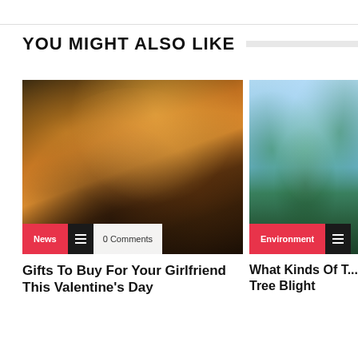YOU MIGHT ALSO LIKE
[Figure (photo): A couple at night, man covering woman's eyes as a surprise, bokeh lights in background, woman holding a green gift box]
News  ≡  0 Comments
Gifts To Buy For Your Girlfriend This Valentine's Day
[Figure (photo): Looking up at palm trees against a blue sky]
Environment  ≡
What Kinds Of T... Tree Blight